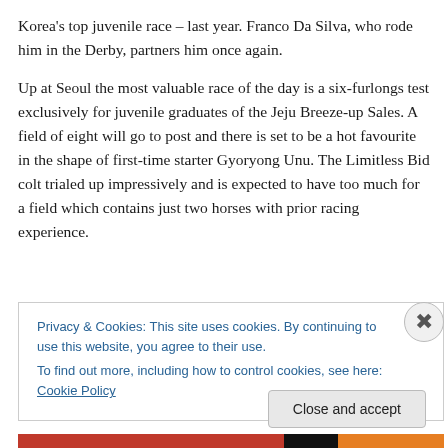Korea's top juvenile race – last year. Franco Da Silva, who rode him in the Derby, partners him once again.
Up at Seoul the most valuable race of the day is a six-furlongs test exclusively for juvenile graduates of the Jeju Breeze-up Sales. A field of eight will go to post and there is set to be a hot favourite in the shape of first-time starter Gyoryong Unu. The Limitless Bid colt trialed up impressively and is expected to have too much for a field which contains just two horses with prior racing experience.
Privacy & Cookies: This site uses cookies. By continuing to use this website, you agree to their use. To find out more, including how to control cookies, see here: Cookie Policy
Close and accept